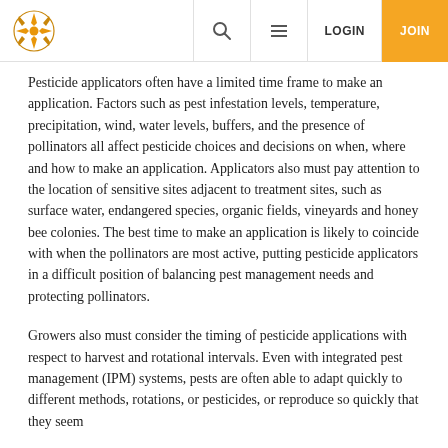Logo | Search | Menu | LOGIN | JOIN
Pesticide applicators often have a limited time frame to make an application. Factors such as pest infestation levels, temperature, precipitation, wind, water levels, buffers, and the presence of pollinators all affect pesticide choices and decisions on when, where and how to make an application. Applicators also must pay attention to the location of sensitive sites adjacent to treatment sites, such as surface water, endangered species, organic fields, vineyards and honey bee colonies. The best time to make an application is likely to coincide with when the pollinators are most active, putting pesticide applicators in a difficult position of balancing pest management needs and protecting pollinators.
Growers also must consider the timing of pesticide applications with respect to harvest and rotational intervals. Even with integrated pest management (IPM) systems, pests are often able to adapt quickly to different methods, rotations, or pesticides, or reproduce so quickly that they seem